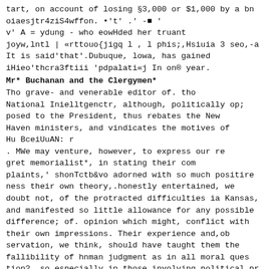tart, on account of losing §3,000 or $1,000 by a bn oiaesjtr4ziS4wffon. •'t' .' -■ '
v' A = ydung - who eowHded her truant joyw,lntl | «rttouo{jigq l , l phis;,Hsiuia 3 seo,-a It is said'that'.Dubuque, lowa, has gained iHieo'thcra3ftiii 'pdpalati«j In on® year.
Mr* Buchanan and the Clergymen*
Tho grave- and venerable editor of. tho National Inielltgenctr, although, politically op; posed to the President, thus rebates the New Haven ministers, and vindicates the motives of Hu BceiUuAN: r
. MWe may venture, however, to express our re gret memorialist*, in stating their com plaints,' shonTctb&vo adorned with so much positire ness their own theory,.honestly entertained, we doubt not, of the protracted difficulties ia Kansas, and manifested so little allowance for any possible difference; of. opinion which might, conflict with their own impressions. Their experience and,ob servation, we think, should have taught them the fallibility of hnman judgment as in all moral ques tion?, so especially in those involving political pr poasssaioqs, and induced them to admit a wider oeoe for the play of adverse, though equally sin